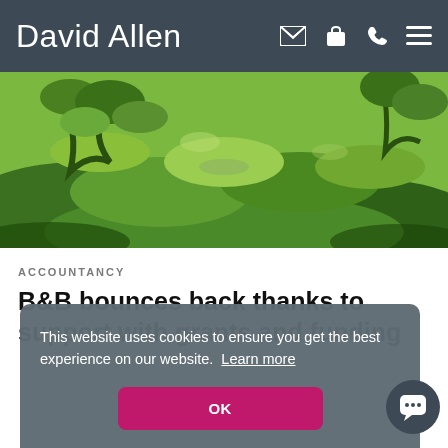David Allen
[Figure (photo): Outdoor garden scene with green trees, leafy branches in foreground, grass and shrubs in background, sunlit.]
ACCOUNTANCY
B&B bounces back thanks to support with grants and funding
This website uses cookies to ensure you get the best experience on our website. Learn more
OK